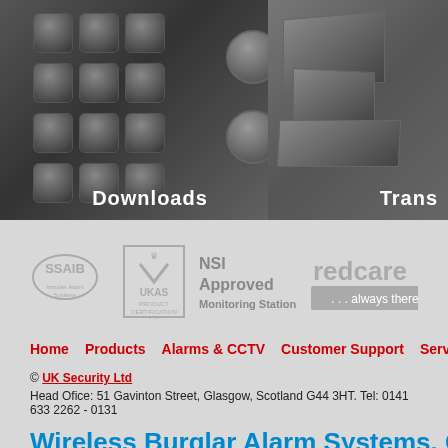[Figure (photo): Close-up of a security keypad device with grid of square keys and two large round buttons, overlaid with text 'Downloads']
[Figure (photo): Security monitoring equipment/screens partially visible, overlaid with text 'Trans']
[Figure (logo): SSAIB Intruder Alarm Systems logo]
[Figure (logo): UKAS Product Certification 131 logo with crown]
NSI Approved Monitoring Station
[Figure (logo): redcare ...always there logo]
Home | Products | Alarms & CCTV | Customer Support | Services | Accreditations
© UK Security Ltd
Head Ofice: 51 Gavinton Street, Glasgow, Scotland G44 3HT. Tel: 0141 633 2262 - 0131
Wireless Burglar Alarm Systems, CCTV Systems